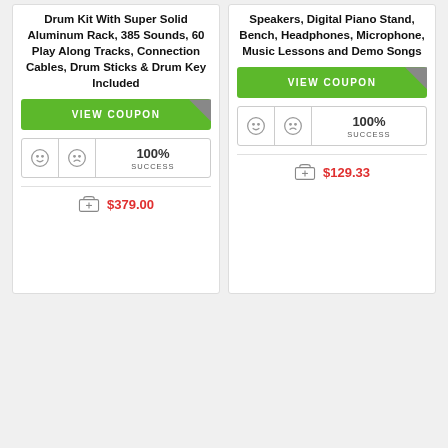Drum Kit With Super Solid Aluminum Rack, 385 Sounds, 60 Play Along Tracks, Connection Cables, Drum Sticks & Drum Key Included
VIEW COUPON
100% SUCCESS
$379.00
Speakers, Digital Piano Stand, Bench, Headphones, Microphone, Music Lessons and Demo Songs
VIEW COUPON
100% SUCCESS
$129.33